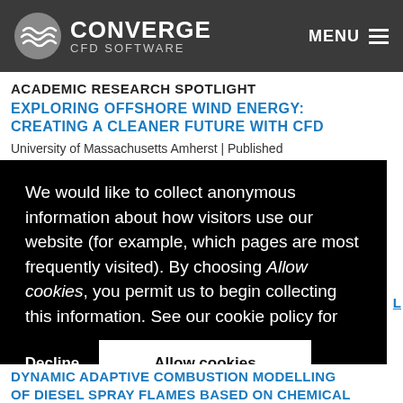CONVERGE CFD SOFTWARE | MENU
ACADEMIC RESEARCH SPOTLIGHT
EXPLORING OFFSHORE WIND ENERGY: CREATING A CLEANER FUTURE WITH CFD
University of Massachusetts Amherst | Published
We would like to collect anonymous information about how visitors use our website (for example, which pages are most frequently visited). By choosing Allow cookies, you permit us to begin collecting this information. See our cookie policy for more information.  Cookie Policy
Decline   Allow cookies
DYNAMIC ADAPTIVE COMBUSTION MODELLING OF DIESEL SPRAY FLAMES BASED ON CHEMICAL